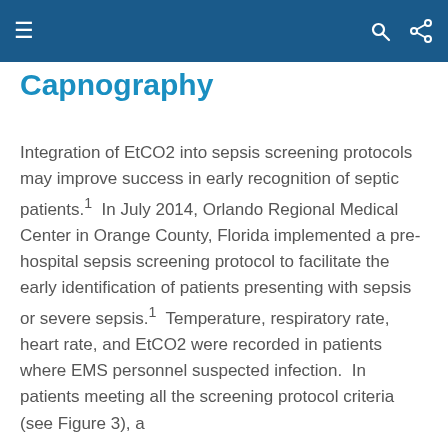Capnography
Integration of EtCO2 into sepsis screening protocols may improve success in early recognition of septic patients.1  In July 2014, Orlando Regional Medical Center in Orange County, Florida implemented a pre- hospital sepsis screening protocol to facilitate the early identification of patients presenting with sepsis or severe sepsis.1  Temperature, respiratory rate, heart rate, and EtCO2 were recorded in patients where EMS personnel suspected infection.  In patients meeting all the screening protocol criteria (see Figure 3), a